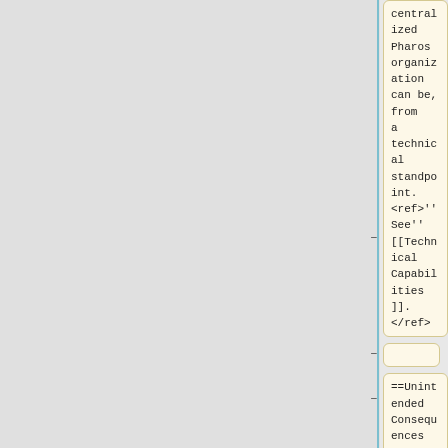centralized Pharos organization can be, from a technical standpoint. <ref>''See'' [[Technical Capabilities]].</ref>
–
==Unintended Consequences==
–
===Threats to Human Security===